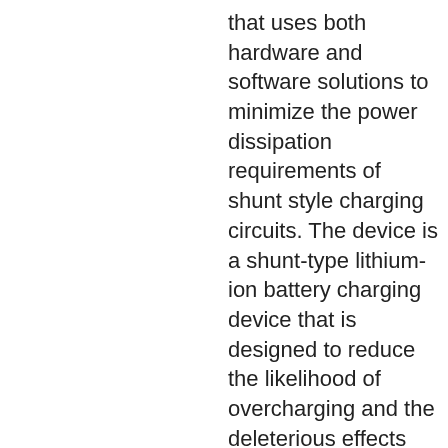that uses both hardware and software solutions to minimize the power dissipation requirements of shunt style charging circuits. The device is a shunt-type lithium-ion battery charging device that is designed to reduce the likelihood of overcharging and the deleterious effects that are associated with the generation of heat during the charging process. This new technology reduces the overall power dissipation of electronic circuits, extends their lifetime, simplifies power management issues, and results in cheaper production costs. Reducing power levels of shunt type charging circuits